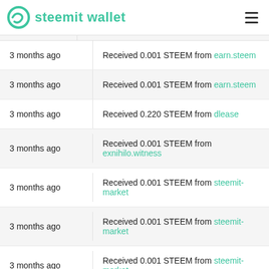steemit wallet
3 months ago — Received 0.001 STEEM from earn.steem
3 months ago — Received 0.001 STEEM from earn.steem
3 months ago — Received 0.220 STEEM from dlease
3 months ago — Received 0.001 STEEM from exnihilo.witness
3 months ago — Received 0.001 STEEM from steemit-market
3 months ago — Received 0.001 STEEM from steemit-market
3 months ago — Received 0.001 STEEM from steemit-market
3 months ago — Received 0.001 STEEM from steemit-market
3 months ago — Received 0.001 STEEM from steemit-market